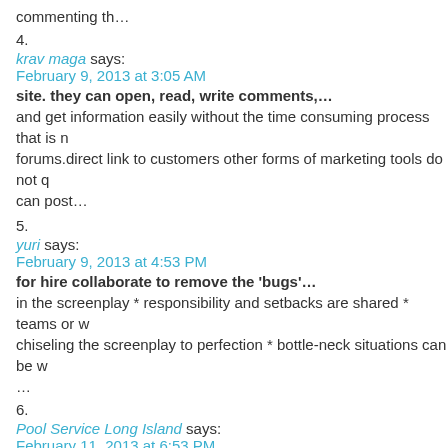commenting th…
4.
krav maga says:
February 9, 2013 at 3:05 AM
site. they can open, read, write comments,…
and get information easily without the time consuming process that is n forums.direct link to customers other forms of marketing tools do not q can post…
5.
yuri says:
February 9, 2013 at 4:53 PM
for hire collaborate to remove the 'bugs'…
in the screenplay * responsibility and setbacks are shared * teams or w chiseling the screenplay to perfection * bottle-neck situations can be w
…
6.
Pool Service Long Island says:
February 11, 2013 at 6:53 PM
and sales copy writing, as well as…
other types of freelance writing (books, poems, e-books) and editing w